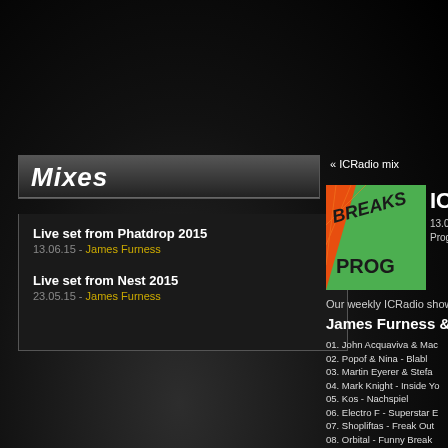Mixes
Live set from Phatdrop 2015
13.06.15 - James Furness
Live set from Nest 2015
23.05.15 - James Furness
[Figure (screenshot): Social media buttons: facebook, myspace, RSS feed]
« ICRadio mix
[Figure (illustration): Album art with BREAKS PROG logo on orange/green background]
IC
13.0...
Prog
Our weekly ICRadio show.
James Furness &
01. John Acquaviva & Mac
02. Popof & Nina - Blabl
03. Martin Eyerer & Stefa
04. Mark Knight - Inside Y
05. Kos - Nachspiel
06. Electro F - Superstar E
07. Shopliftas - Freak Out
08. Orbital - Funny Break
09. Plump DJs - Torque O
10. Costello - Fight 2.0 (Ch
11. Just Banks - Bust A Mo
12. Bitrok - My Frequency
13. Equalizers - Wide Awa
14. Robosapiens - Infecte
15. Pole Folder - Dust (Fre
16. Leftfield - Song Of Lif